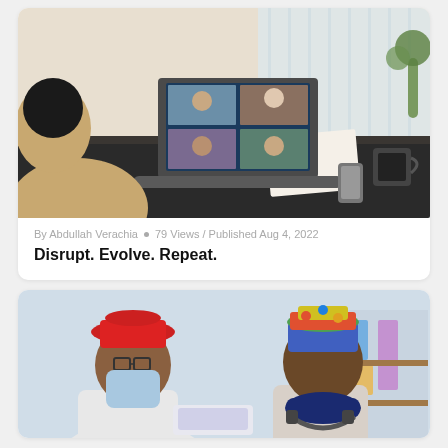[Figure (photo): Person sitting at a dark desk viewed from behind, working on a laptop showing a video conference call with multiple participants on screen. Coffee cup and papers on the desk, bright window in background.]
By Abdullah Verachia • 79 Views / Published Aug 4, 2022
Disrupt. Evolve. Repeat.
[Figure (photo): Two men talking, one wearing a red bucket hat and light blue face mask, the other wearing a colorful cap and navy blue neck gaiter/mask pulled down, with headphones around his neck.]